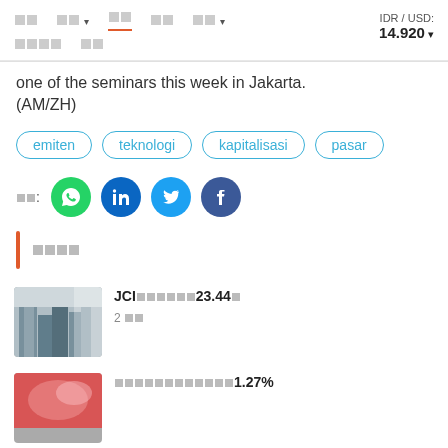Navigation bar with menu items and IDR/USD: 14.920 exchange rate
one of the seminars this week in Jakarta. (AM/ZH)
emiten
teknologi
kapitalisasi
pasar
Share: WhatsApp, LinkedIn, Twitter, Facebook
□□□□
JCI□□□□□□23.44□
2 □□
□□□□□□□□□□□□1.27%